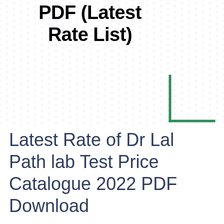PDF (Latest Rate List)
[Figure (illustration): Hexagonal dot pattern background with green corner bracket decoration in the bottom right of the pattern area]
Latest Rate of Dr Lal Path lab Test Price Catalogue 2022 PDF Download